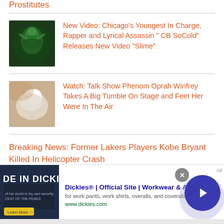Prostitutes
[Figure (photo): Person performing on stage under green lighting]
New Video: Chicago's Youngest In Charge, Rapper and Lyrical Assassin " CB SoCold" Releases New Video "Slime"
[Figure (photo): Close-up photo of a white bird or fabric in soft focus]
Watch: Talk Show Phenom Oprah Winfrey Takes A Big Tumble On Stage and Feet Her Were In The Air
Breaking News: Former Lakers Players Kobe Bryant Killed In Helicopter Crash
Meg B... ...laimed Child Regist...
[Figure (screenshot): Advertisement banner for Dickies workwear and apparel]